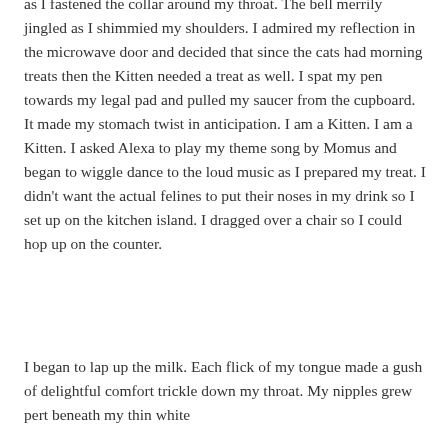as I fastened the collar around my throat. The bell merrily jingled as I shimmied my shoulders. I admired my reflection in the microwave door and decided that since the cats had morning treats then the Kitten needed a treat as well. I spat my pen towards my legal pad and pulled my saucer from the cupboard. It made my stomach twist in anticipation. I am a Kitten. I am a Kitten. I asked Alexa to play my theme song by Momus and began to wiggle dance to the loud music as I prepared my treat. I didn't want the actual felines to put their noses in my drink so I set up on the kitchen island. I dragged over a chair so I could hop up on the counter.
I began to lap up the milk. Each flick of my tongue made a gush of delightful comfort trickle down my throat. My nipples grew pert beneath my thin white